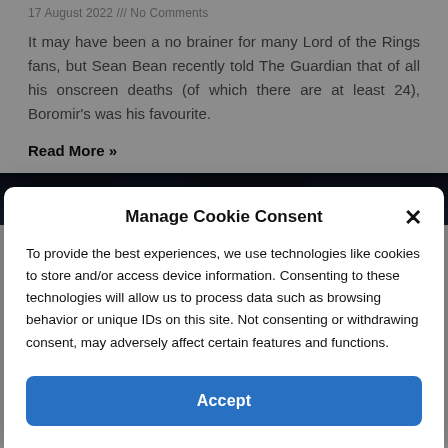17 August 2022 /// No Comments
It may have been a no brainer for many Lord of the Rings fans, but Sean Bean recently told The Guardian that of all his onscreen deaths (of which there are at least 24), Boromir's was his favourite.
Read More »
[Figure (photo): Dark cinematic image strip, partially visible behind the cookie consent modal]
Manage Cookie Consent
To provide the best experiences, we use technologies like cookies to store and/or access device information. Consenting to these technologies will allow us to process data such as browsing behavior or unique IDs on this site. Not consenting or withdrawing consent, may adversely affect certain features and functions.
Accept